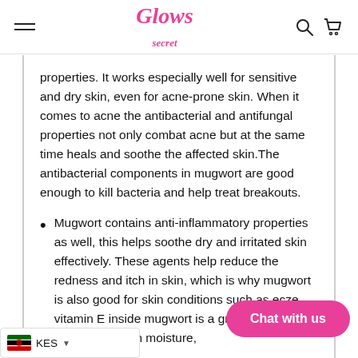Glow's Secret — navigation bar with hamburger menu, logo, search and cart icons
properties. It works especially well for sensitive and dry skin, even for acne-prone skin. When it comes to acne the antibacterial and antifungal properties not only combat acne but at the same time heals and soothe the affected skin.The antibacterial components in mugwort are good enough to kill bacteria and help treat breakouts.
Mugwort contains anti-inflammatory properties as well, this helps soothe dry and irritated skin effectively. These agents help reduce the redness and itch in skin, which is why mugwort is also good for skin conditions such as ecze… vitamin E inside mugwort is a great component that helps retain moisture,